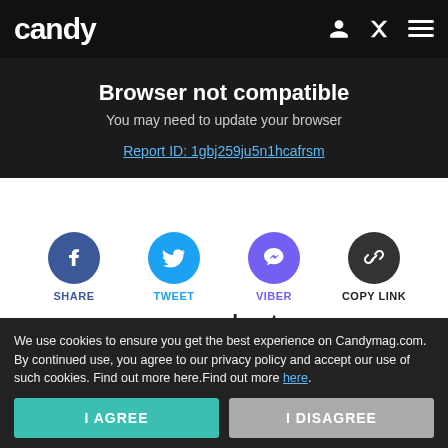candy
Browser not compatible
You may need to update your browser
Report ID: 1gbj259ju5n1hcafrsm
[Figure (infographic): Social sharing icons row: Facebook (SHARE), Twitter (TWEET), Viber (VIBER), Copy Link (COPY LINK)]
more about:
Read on App
syn-00316
sports
social butterfly
college news
We use cookies to ensure you get the best experience on Candymag.com. By continued use, you agree to our privacy policy and accept our use of such cookies. Find out more here.Find out more here.
I AGREE
I DISAGREE